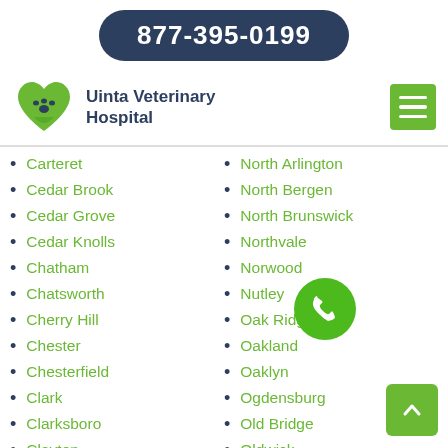877-395-0199
Uinta Veterinary Hospital
Carteret
Cedar Brook
Cedar Grove
Cedar Knolls
Chatham
Chatsworth
Cherry Hill
Chester
Chesterfield
Clark
Clarksboro
Clayton
Clementon
North Arlington
North Bergen
North Brunswick
Northvale
Norwood
Nutley
Oak Ridge
Oakland
Oaklyn
Ogdensburg
Old Bridge
Oldwick
Oradell